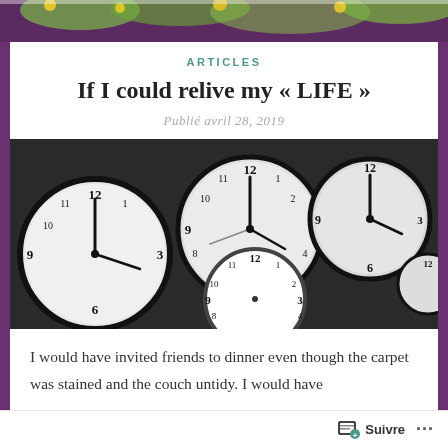[Figure (photo): Top banner image showing flowers/foliage in purple and green tones]
ARTICLES
If I could relive my « LIFE »
Publié avril 28, 2019
[Figure (photo): Black and white photograph of many overlapping analog clocks]
I would have invited friends to dinner even though the carpet was stained and the couch untidy. I would have
Suivre ...